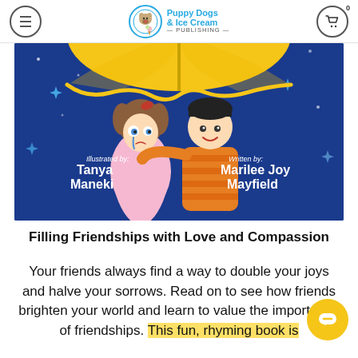Puppy Dogs & Ice Cream — PUBLISHING
[Figure (illustration): Book cover illustration showing two cartoon children under a yellow umbrella against a blue starry background. A boy in an orange striped shirt hugs a girl in a pink dress who is crying. Text on cover reads: Illustrated by: Tanya Maneki, Written by: Marilee Joy Mayfield]
Filling Friendships with Love and Compassion
Your friends always find a way to double your joys and halve your sorrows. Read on to see how friends brighten your world and learn to value the importance of friendships. This fun, rhyming book is